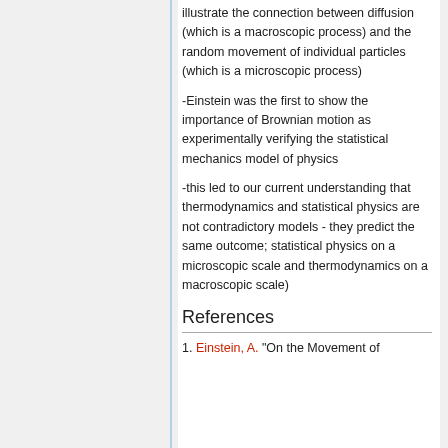illustrate the connection between diffusion (which is a macroscopic process) and the random movement of individual particles (which is a microscopic process)
-Einstein was the first to show the importance of Brownian motion as experimentally verifying the statistical mechanics model of physics
-this led to our current understanding that thermodynamics and statistical physics are not contradictory models - they predict the same outcome; statistical physics on a microscopic scale and thermodynamics on a macroscopic scale)
References
1. Einstein, A. "On the Movement of